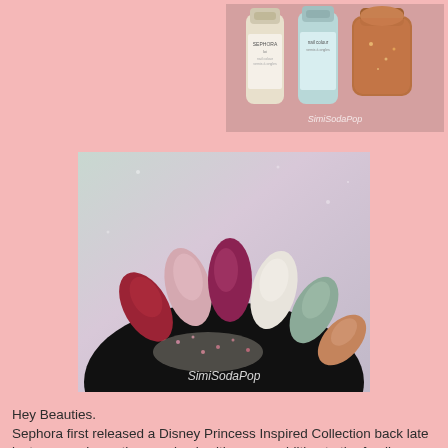[Figure (photo): Photo of Sephora nail polish bottles with watermark 'SimiSodaPop']
[Figure (photo): Photo of nail swatches on a fan display showing multiple nail polish colors (red, pink, burgundy, white/cream, sage green, rose gold) with watermark 'SimiSodaPop']
Hey Beauties.
Sephora first released a Disney Princess Inspired Collection back late last year and now they are back with a new addition to the family,
Check out the Disney's Jasmine Collection By Sephora, In stores now!
I just purchased everything from the collection at my local Sephora,